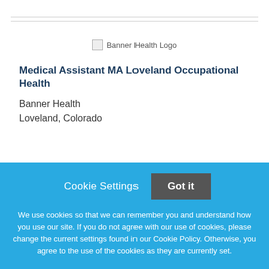[Figure (logo): Banner Health Logo placeholder image]
Medical Assistant MA Loveland Occupational Health
Banner Health
Loveland, Colorado
NEW!
Cookie Settings
Got it
We use cookies so that we can remember you and understand how you use our site. If you do not agree with our use of cookies, please change the current settings found in our Cookie Policy. Otherwise, you agree to the use of the cookies as they are currently set.